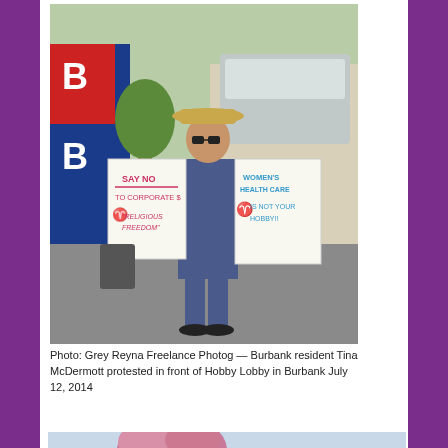[Figure (photo): A woman wearing a straw hat and sunglasses stands outdoors holding two protest signs. Left sign reads 'SAY NO TO CORPORATE $ RELIGIOUS FREEDOM'. Right sign reads 'WOMEN'S HEALTH CARE IS NOT YOUR HOBBY!!'. She is in a parking lot near a Hobby Lobby store.]
Photo: Grey Reyna Freelance Photog — Burbank resident Tina McDermott protested in front of Hobby Lobby in Burbank July 12, 2014
[Figure (photo): Partial photo showing a street scene with trees and a sign reading 'YOU ARE A DOCTOR' and another sign partially visible. People visible in the background.]